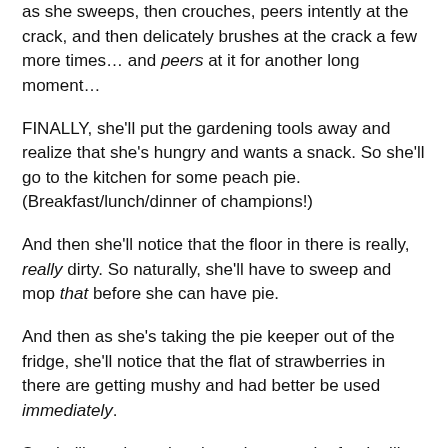as she sweeps, then crouches, peers intently at the crack, and then delicately brushes at the crack a few more times… and peers at it for another long moment…
FINALLY, she'll put the gardening tools away and realize that she's hungry and wants a snack. So she'll go to the kitchen for some peach pie. (Breakfast/lunch/dinner of champions!)
And then she'll notice that the floor in there is really, really dirty. So naturally, she'll have to sweep and mop that before she can have pie.
And then as she's taking the pie keeper out of the fridge, she'll notice that the flat of strawberries in there are getting mushy and had better be used immediately.
So she'll set down the pie and get out the food mill and the berry strainer and several pots and pans and pint-sized Mason jars and lids and tongs and all sorts of other implements, and she'll make six (and a half) pints of strawberry jam. (Eating a big slice of pie during the processing time, which is the first time she can take her